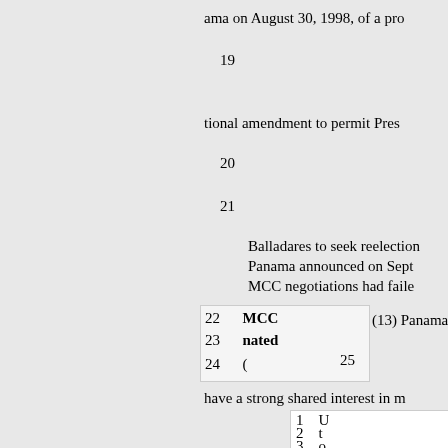ama on August 30, 1998, of a pro
19
tional amendment to permit Pres
20
21
Balladares to seek reelection
Panama announced on Sept
MCC negotiations had faile
22   MCC   (13) Panama a
23   nated
24   (   25
have a strong shared interest in m
1   U
2   t
3   o